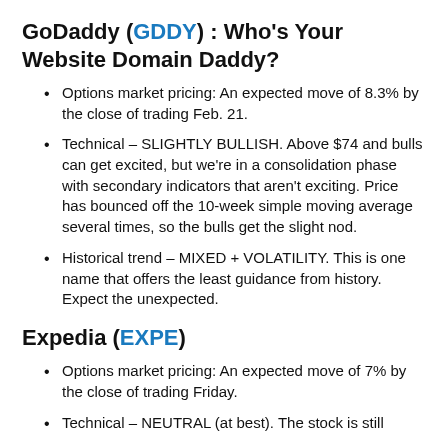GoDaddy (GDDY) : Who's Your Website Domain Daddy?
Options market pricing: An expected move of 8.3% by the close of trading Feb. 21.
Technical – SLIGHTLY BULLISH. Above $74 and bulls can get excited, but we're in a consolidation phase with secondary indicators that aren't exciting. Price has bounced off the 10-week simple moving average several times, so the bulls get the slight nod.
Historical trend – MIXED + VOLATILITY. This is one name that offers the least guidance from history. Expect the unexpected.
Expedia (EXPE)
Options market pricing: An expected move of 7% by the close of trading Friday.
Technical – NEUTRAL (at best). The stock is still